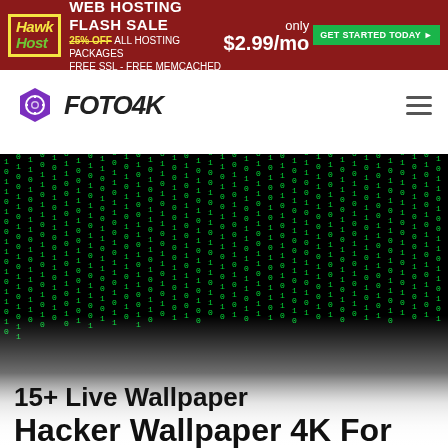[Figure (screenshot): HawkHost web hosting flash sale banner ad: red background, HawkHost logo, '25% OFF ALL HOSTING PACKAGES FREE SSL - FREE MEMCACHED', 'only $2.99/mo', 'GET STARTED TODAY' green button]
[Figure (logo): FOTO4K logo: purple hexagon camera aperture icon and bold italic FOTO4K text, with hamburger menu icon on right]
15+ Live Wallpaper Hacker Wallpaper 4K For